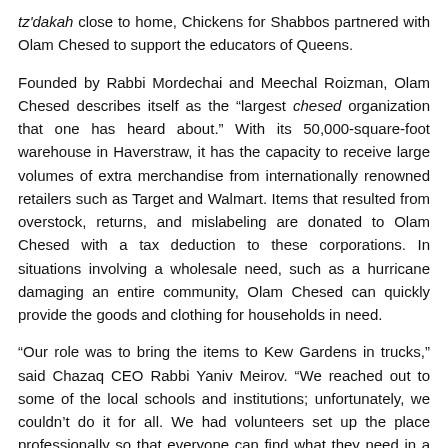tz'dakah close to home, Chickens for Shabbos partnered with Olam Chesed to support the educators of Queens.
Founded by Rabbi Mordechai and Meechal Roizman, Olam Chesed describes itself as the "largest chesed organization that one has heard about." With its 50,000-square-foot warehouse in Haverstraw, it has the capacity to receive large volumes of extra merchandise from internationally renowned retailers such as Target and Walmart. Items that resulted from overstock, returns, and mislabeling are donated to Olam Chesed with a tax deduction to these corporations. In situations involving a wholesale need, such as a hurricane damaging an entire community, Olam Chesed can quickly provide the goods and clothing for households in need.
"Our role was to bring the items to Kew Gardens in trucks," said Chazaq CEO Rabbi Yaniv Meirov. "We reached out to some of the local schools and institutions; unfortunately, we couldn't do it for all. We had volunteers set up the place professionally so that everyone can find what they need in a quick fashion. Beyond our role, Olam Chesed generously provided the items. Emet Outreach